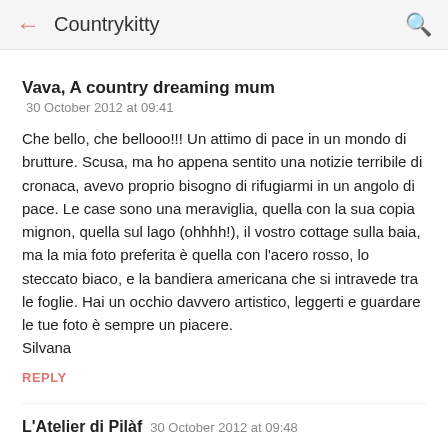← Countrykitty 🔍
Vava, A country dreaming mum
30 October 2012 at 09:41
Che bello, che bellooo!!! Un attimo di pace in un mondo di brutture. Scusa, ma ho appena sentito una notizie terribile di cronaca, avevo proprio bisogno di rifugiarmi in un angolo di pace. Le case sono una meraviglia, quella con la sua copia mignon, quella sul lago (ohhhh!), il vostro cottage sulla baia, ma la mia foto preferita è quella con l'acero rosso, lo steccato biaco, e la bandiera americana che si intravede tra le foglie. Hai un occhio davvero artistico, leggerti e guardare le tue foto è sempre un piacere.
Silvana
REPLY
L'Atelier di Pilàf  30 October 2012 at 09:48